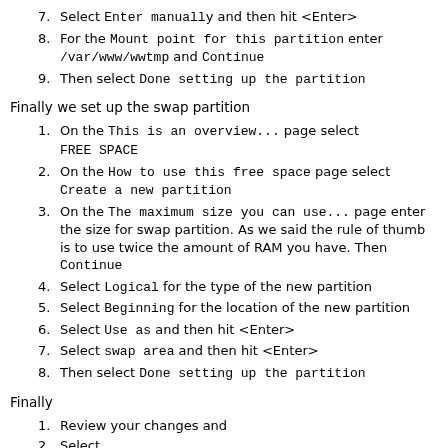7. Select Enter manually and then hit <Enter>
8. For the Mount point for this partition enter /var/www/wwtmp and Continue
9. Then select Done setting up the partition
Finally we set up the swap partition
1. On the This is an overview... page select FREE SPACE
2. On the How to use this free space page select Create a new partition
3. On the The maximum size you can use... page enter the size for swap partition. As we said the rule of thumb is to use twice the amount of RAM you have. Then Continue
4. Select Logical for the type of the new partition
5. Select Beginning for the location of the new partition
6. Select Use as and then hit <Enter>
7. Select swap area and then hit <Enter>
8. Then select Done setting up the partition
Finally
1. Review your changes and
2. Select Finish partitioning and write changes to disk and then hit <Enter>